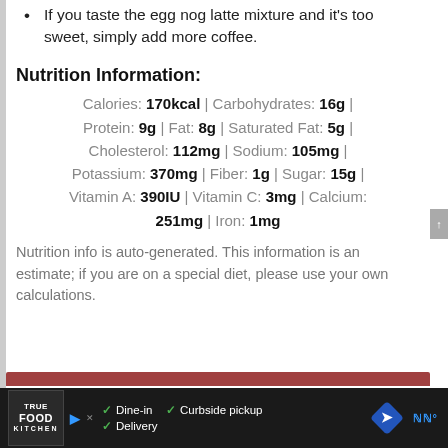If you taste the egg nog latte mixture and it's too sweet, simply add more coffee.
Nutrition Information:
Calories: 170kcal | Carbohydrates: 16g | Protein: 9g | Fat: 8g | Saturated Fat: 5g | Cholesterol: 112mg | Sodium: 105mg | Potassium: 370mg | Fiber: 1g | Sugar: 15g | Vitamin A: 390IU | Vitamin C: 3mg | Calcium: 251mg | Iron: 1mg
Nutrition info is auto-generated. This information is an estimate; if you are on a special diet, please use your own calculations.